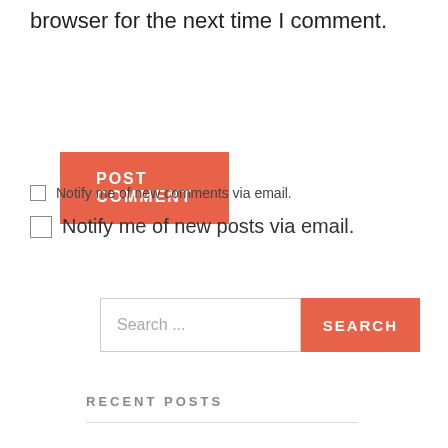browser for the next time I comment.
POST COMMENT
Notify me of new comments via email.
Notify me of new posts via email.
Search ...
SEARCH
RECENT POSTS